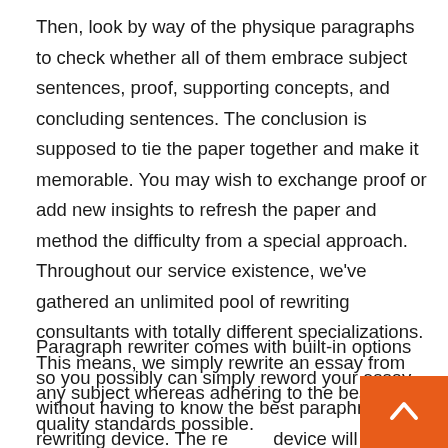Then, look by way of the physique paragraphs to check whether all of them embrace subject sentences, proof, supporting concepts, and concluding sentences. The conclusion is supposed to tie the paper together and make it memorable. You may wish to exchange proof or add new insights to refresh the paper and method the difficulty from a special approach. Throughout our service existence, we've gathered an unlimited pool of rewriting consultants with totally different specializations. This means, we simply rewrite an essay from any subject whereas adhering to the best high quality standards possible.
Paragraph rewriter comes with built-in options so you possibly can simply reword your essay without having to know the best paraphrase rewriting device. The reading device will surely improve the quality of the written